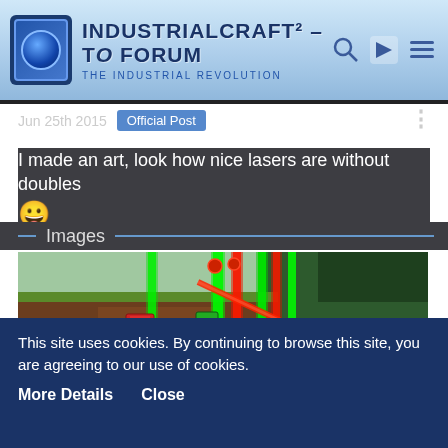IndustrialCraft² - The Forum - The Industrial Revolution
Jun 25th 2015  Official Post
I made an art, look how nice lasers are without doubles 😀
Images
[Figure (screenshot): Minecraft screenshot showing laser beams in green and red colors rising vertically in a blocky landscape with grass, dirt, and sand terrain, with various redstone/IC2 machinery components visible]
This site uses cookies. By continuing to browse this site, you are agreeing to our use of cookies.
More Details   Close